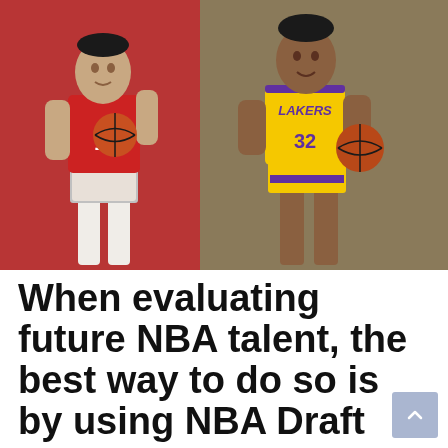[Figure (photo): Two basketball players side by side: on the left, a young player in a red and white jersey (#1) holding a basketball and looking up; on the right, Magic Johnson in a yellow Los Angeles Lakers jersey (#32) dribbling a basketball.]
When evaluating future NBA talent, the best way to do so is by using NBA Draft